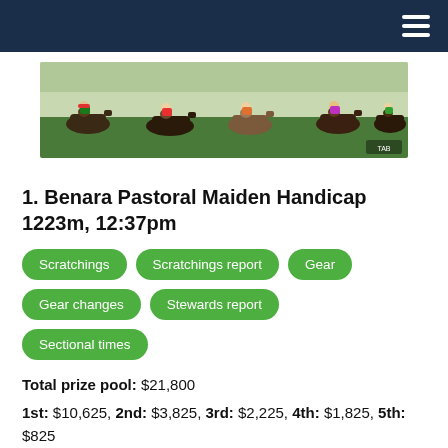[Figure (photo): Horse race in progress showing multiple horses and jockeys racing on a track]
1. Benara Pastoral Maiden Handicap 1223m, 12:37pm
Scratchings
Scratchings report
Gear
Gear changes
Stewards report
Sectional times
Total prize pool: $21,800
1st: $10,625, 2nd: $3,825, 3rd: $2,225, 4th: $1,825, 5th: $825
Maiden (Mdn), Handicap (Hcp), Two-Years-Old and Upwards (2Up), SA/NT Maiden Set Weights (SA/NT Mdn